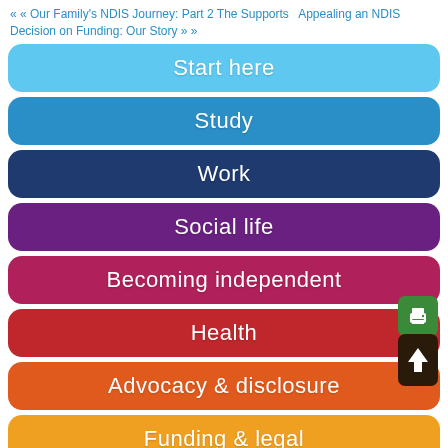« « Our Family's NDIS Journey: Part 2 The Supports   Appealing an NDIS Decision on Funding: Our Story » »
Start here
Study
Work
Social life
Becoming independent
Health
Advocacy & disclosure
Funding & legal